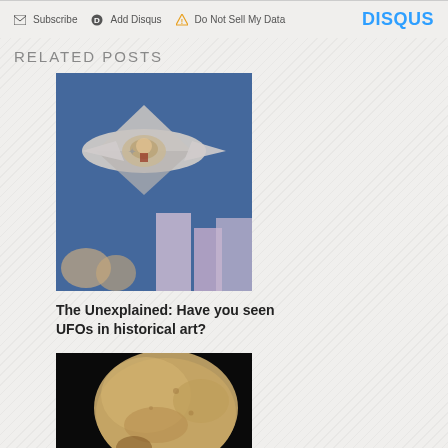Subscribe  Add Disqus  Do Not Sell My Data   DISQUS
RELATED POSTS
[Figure (illustration): Historical painting/fresco depicting what appears to be a UFO or spacecraft in the sky above figures and buildings, with blue background.]
The Unexplained: Have you seen UFOs in historical art?
[Figure (photo): Photograph of an ancient human skull against a black background, showing the top and side of the cranium.]